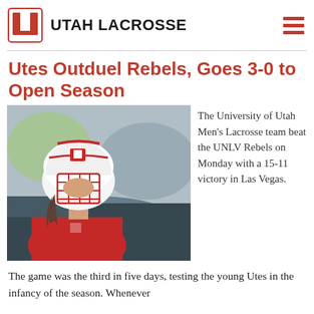UTAH LACROSSE
Utes Outduel Rebels, Goes 3-0 to Open Season
[Figure (photo): A University of Utah lacrosse player wearing a white helmet with red face guard and red jersey, viewed from the side, with a blurred outdoor background.]
The University of Utah Men’s Lacrosse team beat the UNLV Rebels on Monday with a 15-11 victory in Las Vegas. The game was the third in five days, testing the young Utes in the infancy of the season. Whenever